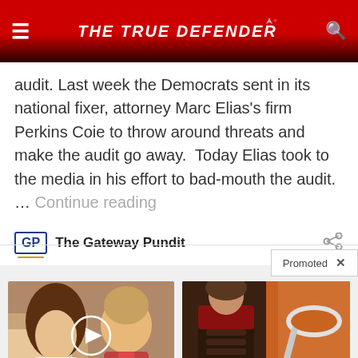THE TRUE DEFENDER
audit. Last week the Democrats sent in its national fixer, attorney Marc Elias's firm Perkins Coie to throw around threats and make the audit go away.  Today Elias took to the media in his effort to bad-mouth the audit. … Continue reading
The Gateway Pundit
Promoted
[Figure (photo): Photo of two people, with a circular play button overlay. Caption reads: AOC Wants This Video Destroyed — Watch Now Before It's Banned. Count: 651,249]
AOC Wants This Video Destroyed — Watch Now Before It's Banned
651,249
[Figure (photo): Photo of a fitness person and a spice on a spoon. Caption reads: Just 1 Teaspoon Burns Belly Fat Like Crazy! Count: 9,212]
Just 1 Teaspoon Burns Belly Fat Like Crazy!
9,212